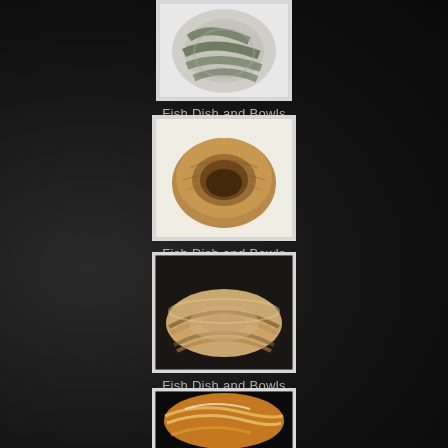[Figure (photo): Striped green and cream ceramic bowl viewed from above, sitting on white surface]
Fish Dish and Bowls
[Figure (photo): Wooden turned bowl with natural grain markings, sitting on white foam, viewed from above]
Fish Dish and Bowls
[Figure (photo): Stoneware bowl with brown and cream swirling layers, viewed from slight angle on dark surface]
Fish Dish and Bowls
[Figure (photo): Amber and white swirled bowl partially visible at bottom of page]